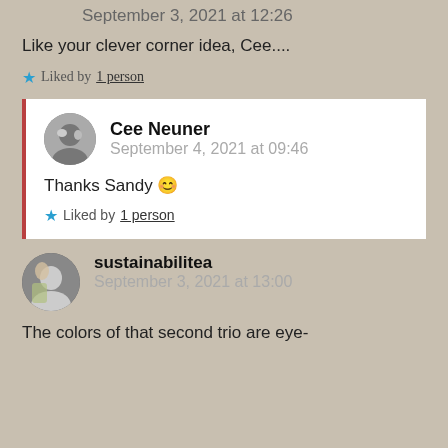September 3, 2021 at 12:26
Like your clever corner idea, Cee....
★ Liked by 1 person
Cee Neuner
September 4, 2021 at 09:46
Thanks Sandy 😊
★ Liked by 1 person
sustainabilitea
September 3, 2021 at 13:00
The colors of that second trio are eye-